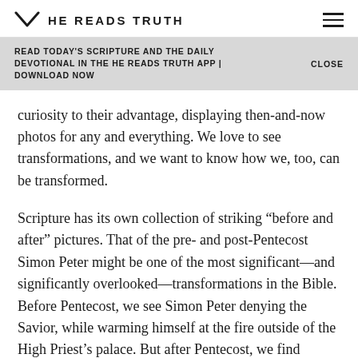HE READS TRUTH
READ TODAY'S SCRIPTURE AND THE DAILY DEVOTIONAL IN THE HE READS TRUTH APP | DOWNLOAD NOW   CLOSE
curiosity to their advantage, displaying then-and-now photos for any and everything. We love to see transformations, and we want to know how we, too, can be transformed.
Scripture has its own collection of striking “before and after” pictures. That of the pre- and post-Pentecost Simon Peter might be one of the most significant—and significantly overlooked—transformations in the Bible. Before Pentecost, we see Simon Peter denying the Savior, while warming himself at the fire outside of the High Priest’s palace. But after Pentecost, we find Simon